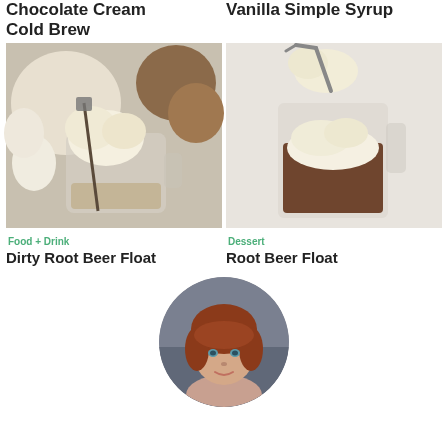Chocolate Cream Cold Brew
Vanilla Simple Syrup
[Figure (photo): A glass mug filled with cold brew topped with scoops of vanilla ice cream, a vintage metal stirrer, with eggs and a jar visible in the background]
[Figure (photo): A glass mug filled with root beer float topped with ice cream, a scoop lifting ice cream above, on a light background]
Food + Drink
Dessert
Dirty Root Beer Float
Root Beer Float
[Figure (photo): Portrait photo of a woman with reddish-brown hair styled in bangs, looking into the camera, circular crop]